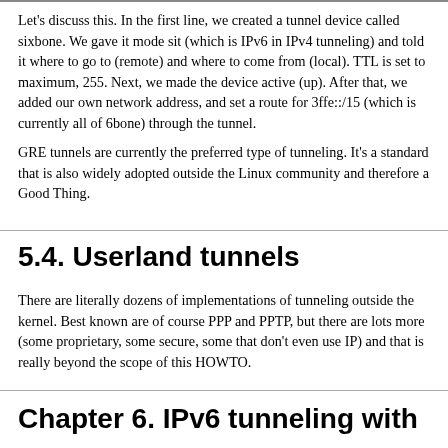Let's discuss this. In the first line, we created a tunnel device called sixbone. We gave it mode sit (which is IPv6 in IPv4 tunneling) and told it where to go to (remote) and where to come from (local). TTL is set to maximum, 255. Next, we made the device active (up). After that, we added our own network address, and set a route for 3ffe::/15 (which is currently all of 6bone) through the tunnel.
GRE tunnels are currently the preferred type of tunneling. It's a standard that is also widely adopted outside the Linux community and therefore a Good Thing.
5.4. Userland tunnels
There are literally dozens of implementations of tunneling outside the kernel. Best known are of course PPP and PPTP, but there are lots more (some proprietary, some secure, some that don't even use IP) and that is really beyond the scope of this HOWTO.
Chapter 6. IPv6 tunneling with